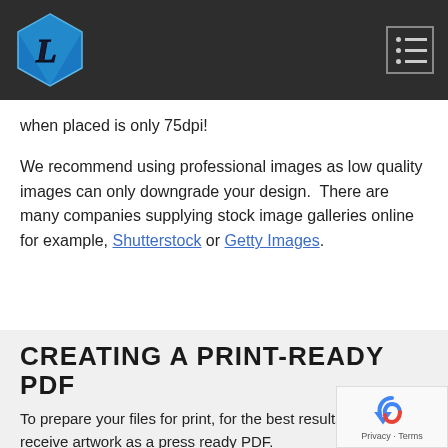Logo and navigation header
when placed is only 75dpi!
We recommend using professional images as low quality images can only downgrade your design. There are many companies supplying stock image galleries online for example, Shutterstock or Getty Images.
CREATING A PRINT-READY PDF
To prepare your files for print, for the best results we prefer to receive artwork as a press ready PDF.
All PDFs should be set to high resolution to be press ready